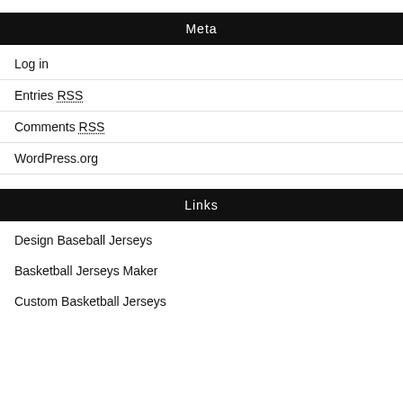Meta
Log in
Entries RSS
Comments RSS
WordPress.org
Links
Design Baseball Jerseys
Basketball Jerseys Maker
Custom Basketball Jerseys